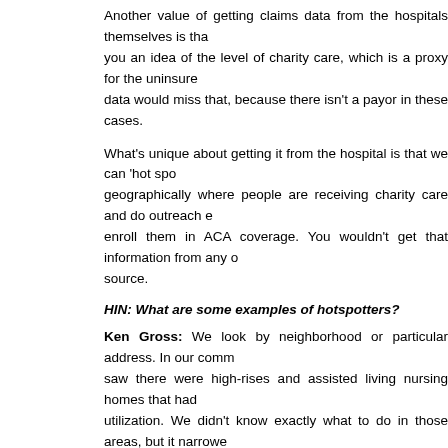Another value of getting claims data from the hospitals themselves is that it gives you an idea of the level of charity care, which is a proxy for the uninsured. Payor data would miss that, because there isn't a payor in these cases.
What's unique about getting it from the hospital is that we can 'hot spot' geographically where people are receiving charity care and do outreach efforts to enroll them in ACA coverage. You wouldn't get that information from any other source.
HIN: What are some examples of hotspotters?
Ken Gross: We look by neighborhood or particular address. In our community we saw there were high-rises and assisted living nursing homes that had high utilization. We didn't know exactly what to do in those areas, but it narrowed it down for separate discussions. It led to discussions with the people who run one high-rise: what can we do in that building to provide better access to care? And a clinic opened up.
In other hotspotting examples, we focus on what claims data shows from utilization patterns: how many ED visits and inpatient visits come from a particular location. Hotspotting could also identify people with the primary diagnosis of diabetes in certain geographic areas. You would then look at whether you have appropriate resources. We have diabetes education programs as part of our coalition.
We can then overlay this on a map: where there's a high instance of diabetes in the community and where we offer our programs, to see if we need programs in new places.